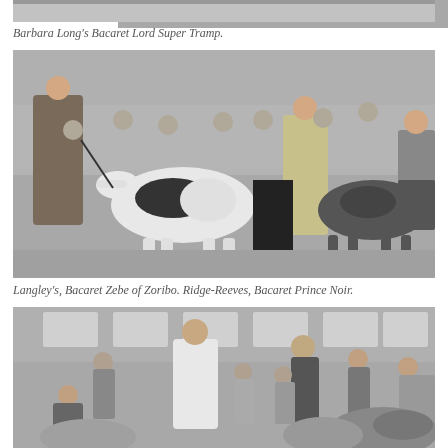[Figure (photo): Black and white photograph, partially visible at the top of the page, showing a dog show indoor setting.]
Barbara Long's Bacaret Lord Super Tramp.
[Figure (photo): Black and white photograph of a dog show. A handler on the left shows a large black and white Borzoi (or similar sighthound) dog. In the background, another handler shows a dark-colored dog. Several spectators are seated and standing in the background in what appears to be an indoor arena or hall.]
Langley's, Bacaret Zebe of Zoribo. Ridge-Reeves, Bacaret Prince Noir.
[Figure (photo): Black and white photograph of a dog show. A man in a white shirt stands in the center, with several people and dogs visible around him in an indoor venue. Part of a dog's back is visible in the lower right foreground.]